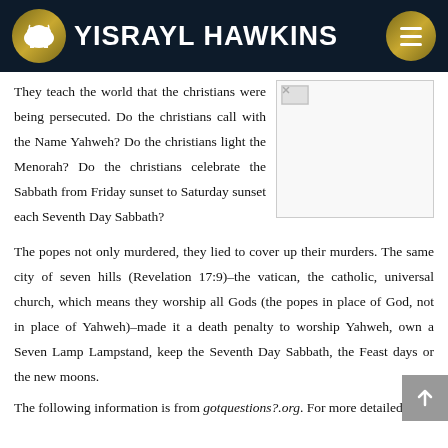YISRAYL HAWKINS
They teach the world that the christians were being persecuted. Do the christians call with the Name Yahweh? Do the christians light the Menorah? Do the christians celebrate the Sabbath from Friday sunset to Saturday sunset each Seventh Day Sabbath?
[Figure (photo): Small image thumbnail with broken image icon, floated right]
The popes not only murdered, they lied to cover up their murders. The same city of seven hills (Revelation 17:9)–the vatican, the catholic, universal church, which means they worship all Gods (the popes in place of God, not in place of Yahweh)–made it a death penalty to worship Yahweh, own a Seven Lamp Lampstand, keep the Seventh Day Sabbath, the Feast days or the new moons.
The following information is from gotquestions?.org. For more detailed